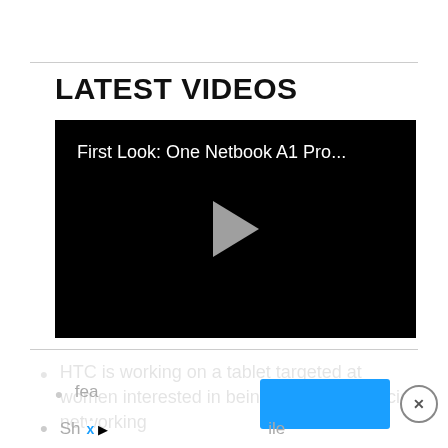LATEST VIDEOS
[Figure (screenshot): Video thumbnail with black background showing title 'First Look: One Netbook A1 Pro...' in white text and a gray play button in the center]
HTC is working on a tablet targeted at women interested in being able to use social networking fea...
Sh... ile